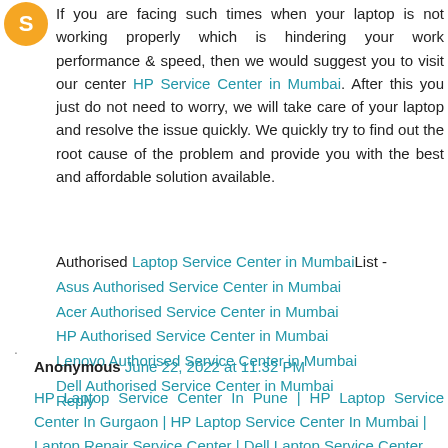[Figure (logo): Orange circular avatar/icon in top-left corner]
If you are facing such times when your laptop is not working properly which is hindering your work performance & speed, then we would suggest you to visit our center HP Service Center in Mumbai. After this you just do not need to worry, we will take care of your laptop and resolve the issue quickly. We quickly try to find out the root cause of the problem and provide you with the best and affordable solution available.
Authorised Laptop Service Center in MumbaiList - Asus Authorised Service Center in Mumbai Acer Authorised Service Center in Mumbai HP Authorised Service Center in Mumbai Lenovo Authorised Service Center in Mumbai Dell Authorised Service Center in Mumbai
Reply
Anonymous June 22, 2022 at 11:32 PM
HP Laptop Service Center In Pune | HP Laptop Service Center In Gurgaon | HP Laptop Service Center In Mumbai | Laptop Repair Service Center | Dell Laptop Service Center